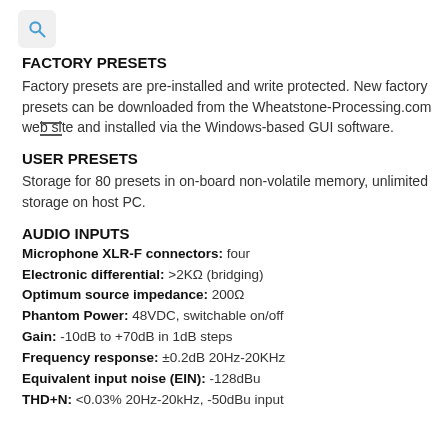FACTORY PRESETS
Factory presets are pre-installed and write protected. New factory presets can be downloaded from the Wheatstone-Processing.com web site and installed via the Windows-based GUI software.
USER PRESETS
Storage for 80 presets in on-board non-volatile memory, unlimited storage on host PC.
AUDIO INPUTS
Microphone XLR-F connectors: four
Electronic differential: >2KΩ (bridging)
Optimum source impedance: 200Ω
Phantom Power: 48VDC, switchable on/off
Gain: -10dB to +70dB in 1dB steps
Frequency response: ±0.2dB 20Hz-20KHz
Equivalent input noise (EIN): -128dBu
THD+N: <0.03% 20Hz-20kHz, -50dBu input